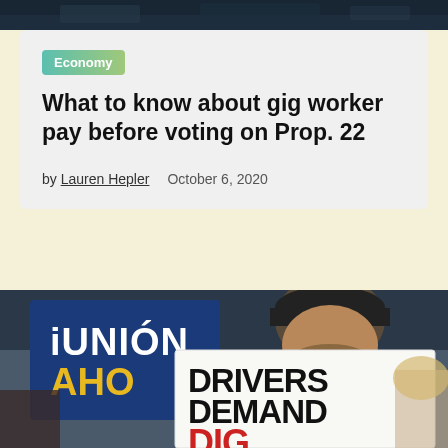[Figure (photo): Dark photo strip at the top of the page, appears to be a crowd or outdoor scene]
Economy
What to know about gig worker pay before voting on Prop. 22
by Lauren Hepler    October 6, 2020
[Figure (photo): Protest photo showing a man holding a sign reading 'DRIVERS DEMAND DIG...' with a blue union sign in background reading 'iUNIÓN AHO...']